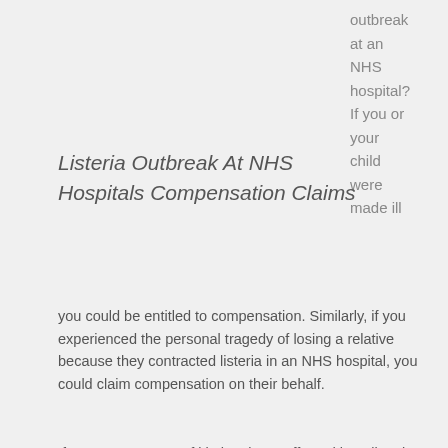outbreak at an NHS hospital? If you or your child were made ill
Listeria Outbreak At NHS Hospitals Compensation Claims
you could be entitled to compensation. Similarly, if you experienced the personal tragedy of losing a relative because they contracted listeria in an NHS hospital, you could claim compensation on their behalf.
If you, or your next of kin has been affected by a listeria outbreak in an NHS hospital, trust Medical Negligence Assist to handle your medical negligence claim for compensation. We are a well-respected service specialising in medical negligence claims. Our panel of solicitors have three decades of experience handling hospital negligence and clinical negligence claims, and you can rest assured in the knowledge that they will strive to win you the maximum amount of compensation possible.